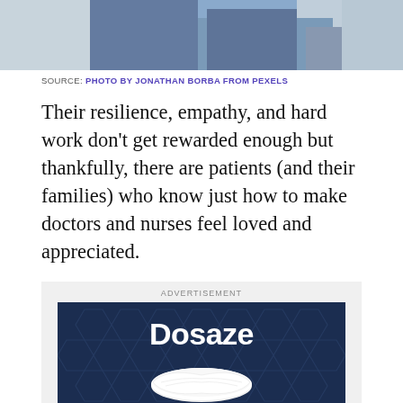[Figure (photo): Partial photo of a person sitting, wearing jeans, with hands clasped — bottom portion of image visible at top of page]
SOURCE: PHOTO BY JONATHAN BORBA FROM PEXELS
Their resilience, empathy, and hard work don't get rewarded enough but thankfully, there are patients (and their families) who know just how to make doctors and nurses feel loved and appreciated.
[Figure (advertisement): Advertisement banner for Dosaze showing the brand name in white bold text on a dark navy blue hexagonal-patterned background with a white pillow product image below the logo]
ADVERTISEMENT